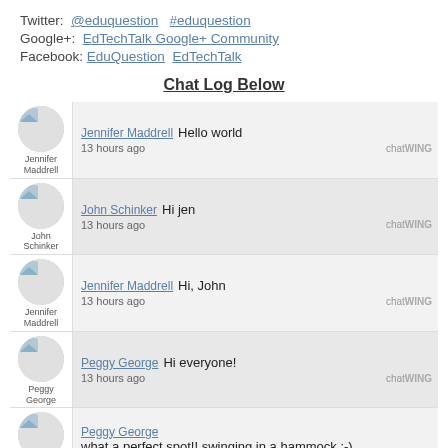Twitter: @eduquestion  #eduquestion
Google+: EdTechTalk Google+ Community
Facebook: EduQuestion  EdTechTalk
Chat Log Below
Jennifer Maddrell: Hello world — 13 hours ago
John Schinker: Hi jen — 13 hours ago
Jennifer Maddrell: Hi, John — 13 hours ago
Peggy George: Hi everyone! — 13 hours ago
Peggy George: what a perfect spot!! swinging in a hammock :-) — 13 hours ago
Peggy George: hahahaha!!! — 13 hours ago
Peggy George: what awesome spots to be recording from :-) — 13 hours ago